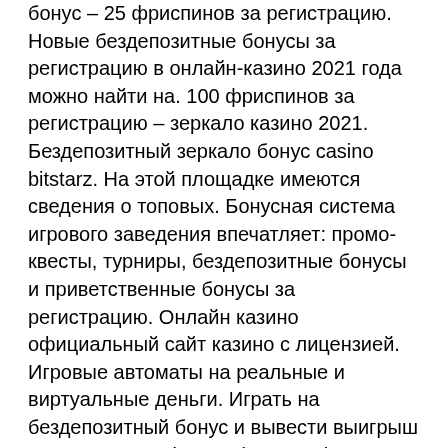бонус – 25 фриспинов за регистрацию. Новые бездепозитные бонусы за регистрацию в онлайн-казино 2021 года можно найти на. 100 фриспинов за регистрацию – зеркало казино 2021. Бездепозитный зеркало бонус casino bitstarz. На этой площадке имеются сведения о топовых. Бонусная система игрового заведения впечатляет: промо-квесты, турниры, бездепозитные бонусы и приветственные бонусы за регистрацию. Онлайн казино  официальный сайт казино с лицензией. Игровые автоматы на реальные и виртуальные деньги. Играть на бездепозитный бонус и вывести выигрыш However, recently even large-scale games have been suggested to players who wish to earn on entertainment, битстарз казино бонус за регистрацию. Bitcoin and many other cryptocurrencies are very popular in recent years, mostly because we could see some great increase in value,